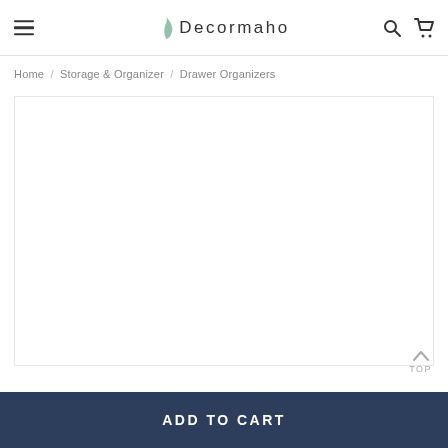Decormaho
Home / Storage & Organizer / Drawer Organizers
[Figure (other): Empty white product image area for a Drawer Organizer product listing on the Decormaho e-commerce website]
TOP
ADD TO CART